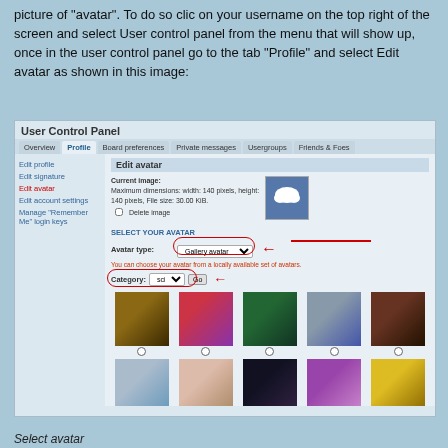picture of 'avatar'. To do so clic on your username on the top right of the screen and select User control panel from the menu that will show up, once in the user control panel go to the tab "Profile" and select Edit avatar as shown in this image:
[Figure (screenshot): Screenshot of User Control Panel showing the Edit avatar interface with avatar gallery selection showing sci-fi category images in a grid]
Select avatar